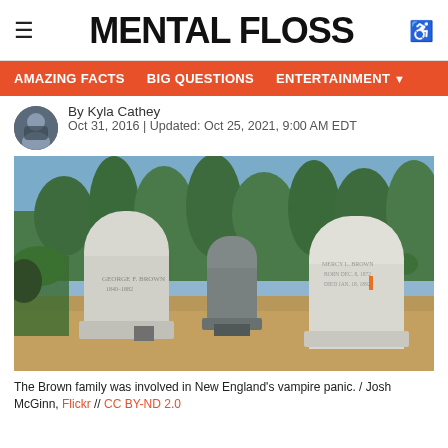MENTAL FLOSS
AMAZING FACTS   BIG QUESTIONS   ENTERTAINMENT
By Kyla Cathey
Oct 31, 2016 | Updated: Oct 25, 2021, 9:00 AM EDT
[Figure (photo): Cemetery with three white marble gravestones in the foreground on brown soil, with trees and green shrubs in the background under a blue sky. The gravestones belong to the Brown family.]
The Brown family was involved in New England's vampire panic. / Josh McGinn, Flickr // CC BY-ND 2.0